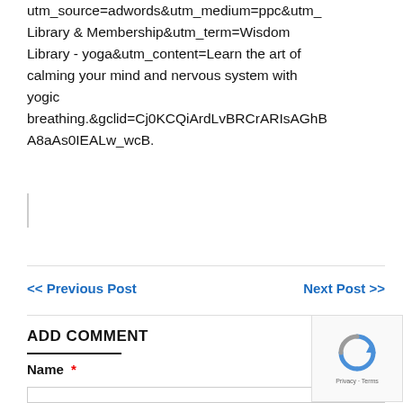utm_source=adwords&utm_medium=ppc&utm_campaign=Wisdom Library & Membership&utm_term=Wisdom Library - yoga&utm_content=Learn the art of calming your mind and nervous system with yogic breathing.&gclid=Cj0KCQiArdLvBRCrARIsAGhB A8aAs0IEALw_wcB.
<< Previous Post
Next Post >>
ADD COMMENT
Name *